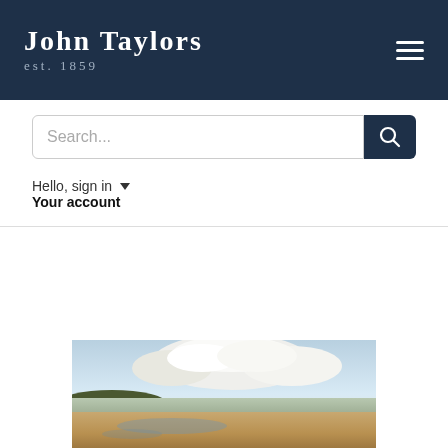JOHN TAYLORS est. 1859
Search...
Hello, sign in
Your account
This auction is closed!
It is no longer possible to bid at this auction.
[Figure (photo): Coastal landscape painting showing a beach with tide pools, a headland in the middle distance, cloudy sky with cumulus clouds, and sandy foreground.]